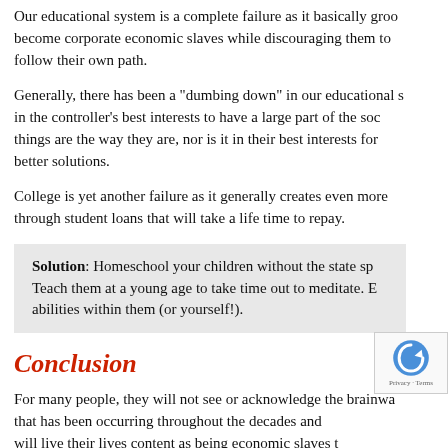Our educational system is a complete failure as it basically grooms students to become corporate economic slaves while discouraging them to follow their own path.
Generally, there has been a "dumbing down" in our educational system as it is in the controller's best interests to have a large part of the society unaware of why things are the way they are, nor is it in their best interests for people to seek better solutions.
College is yet another failure as it generally creates even more debt, often through student loans that will take a life time to repay.
Solution: Homeschool your children without the state sponsored curriculum. Teach them at a young age to take time out to meditate. Encourage the natural abilities within them (or yourself!).
Conclusion
For many people, they will not see or acknowledge the brainwashing that has been occurring throughout the decades and will live their lives content as being economic slaves t…
There are options and solutions. Please watch the video below,